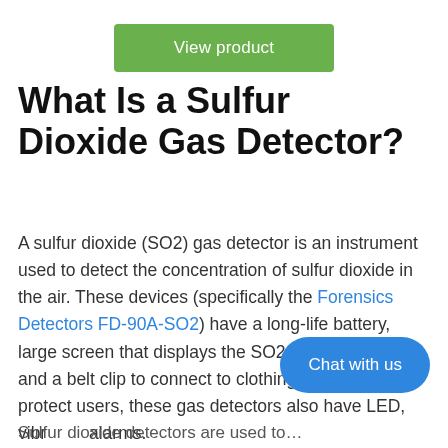[Figure (other): Green 'View product' button]
What Is a Sulfur Dioxide Gas Detector?
A sulfur dioxide (SO2) gas detector is an instrument used to detect the concentration of sulfur dioxide in the air. These devices (specifically the Forensics Detectors FD-90A-SO2) have a long-life battery, large screen that displays the SO2 concentration, and a belt clip to connect to clothing. In order to protect users, these gas detectors also have LED, vibra… alarms.
[Figure (other): Blue 'Chat with us' button overlay]
Sulfur dioxide detectors are used to...